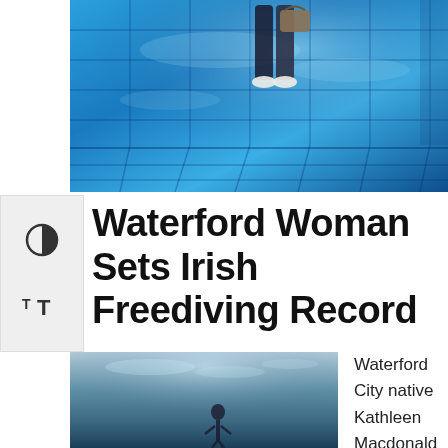[Figure (photo): Underwater pool photo showing a person standing near tiled pool wall with blue water reflections]
Waterford Woman Sets Irish Freediving Record
[Figure (photo): Underwater freediving photo showing a diver descending in open blue water]
Waterford City native Kathleen Macdonald has been ranked